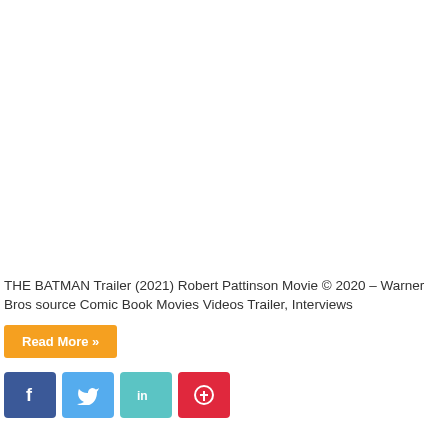THE BATMAN Trailer (2021) Robert Pattinson Movie © 2020 – Warner Bros source Comic Book Movies Videos Trailer, Interviews
Read More »
[Figure (infographic): Social media share buttons: Facebook (blue), Twitter (light blue), LinkedIn (teal), Pinterest (red)]